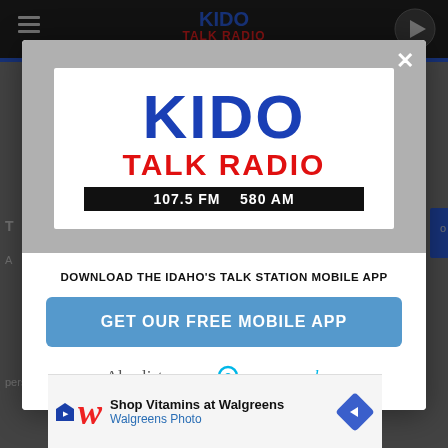[Figure (screenshot): KIDO Talk Radio website screenshot showing a modal popup dialog with the KIDO Talk Radio logo, a 'GET OUR FREE MOBILE APP' button, and 'Also listen on: amazon alexa' text. Background shows the website navigation bar.]
DOWNLOAD THE IDAHO'S TALK STATION MOBILE APP
GET OUR FREE MOBILE APP
Also listen on: amazon alexa
[Figure (screenshot): Walgreens advertisement banner: Shop Vitamins at Walgreens - Walgreens Photo]